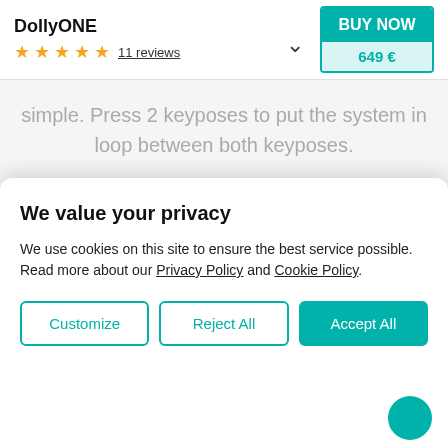DollyONE
★★★★★ 11 reviews
BUY NOW 649 €
simple. Press 2 keyposes to put the system in loop between both keyposes.
You can adjust the speed and acceleration of the transition between keyposes. Or, you can easily create time-lapse videos by using the same
We value your privacy
We use cookies on this site to ensure the best service possible. Read more about our Privacy Policy and Cookie Policy.
Customize   Reject All   Accept All